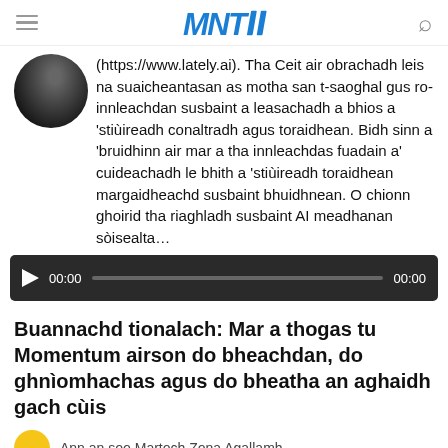MNT (logo)
(https://www.lately.ai). Tha Ceit air obrachadh leis na suaicheantasan as motha san t-saoghal gus ro-innleachdan susbaint a leasachadh a bhios a 'stiùireadh conaltradh agus toraidhean. Bidh sinn a 'bruidhinn air mar a tha innleachdas fuadain a' cuideachadh le bhith a 'stiùireadh toraidhean margaidheachd susbaint bhuidhnean. O chionn ghoirid tha riaghladh susbaint AI meadhanan sòisealta…
[Figure (other): Audio player with play button, time display 00:00, progress bar, and duration 00:00 on dark background]
Buannachd tionalach: Mar a thogas tu Momentum airson do bheachdan, do ghnìomhachas agus do bheatha an aghaidh gach cùis
Ann an soo Martoch Zona Agallamh